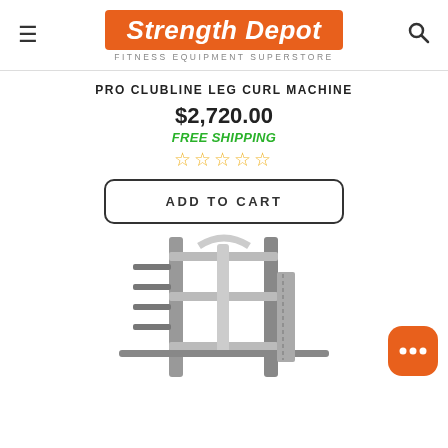Strength Depot — FITNESS EQUIPMENT SUPERSTORE
PRO CLUBLINE LEG CURL MACHINE
$2,720.00
FREE SHIPPING
★★★★★ (0 reviews)
ADD TO CART
[Figure (photo): Photo of a Pro Clubline Leg Curl Machine, a silver/grey commercial gym equipment piece with weight plate pegs and a barbell.]